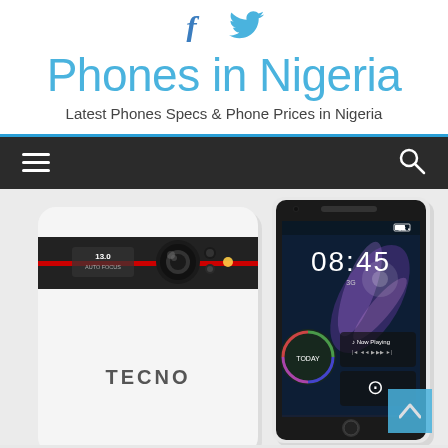f (Facebook icon) and Twitter bird icon
Phones in Nigeria
Latest Phones Specs & Phone Prices in Nigeria
Navigation bar with hamburger menu and search icon
[Figure (photo): Two Tecno smartphones shown from back and front. The back shows a white body with black camera bar containing a 13.0 MP autofocus camera and red accent stripe, with TECNO branding. The front shows the display with time 08:45 and Android UI widgets.]